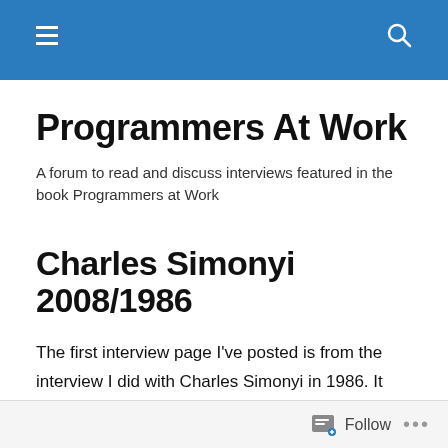Programmers At Work [navigation bar]
Programmers At Work
A forum to read and discuss interviews featured in the book Programmers at Work
Charles Simonyi 2008/1986
The first interview page I've posted is from the interview I did with Charles Simonyi in 1986. It was also the first one I conducted for the book and I was finding my way. Reading over it, I've pulled out below a few provocative excerpts. And the entire interview with Charles from 1986 in
Follow ...